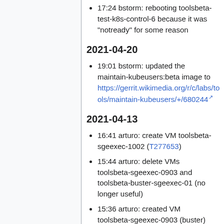17:24 bstorm: rebooting toolsbeta-test-k8s-control-6 because it was "notready" for some reason
2021-04-20
19:01 bstorm: updated the maintain-kubeusers:beta image to https://gerrit.wikimedia.org/r/c/labs/tools/maintain-kubeusers/+/680244
2021-04-13
16:41 arturo: create VM toolsbeta-sgeexec-1002 (T277653)
15:44 arturo: delete VMs toolsbeta-sgeexec-0903 and toolsbeta-buster-sgeexec-01 (no longer useful)
15:36 arturo: created VM toolsbeta-sgeexec-0903 (buster) (T277653)
15:31 arturo: live-hacking puppetmaster with